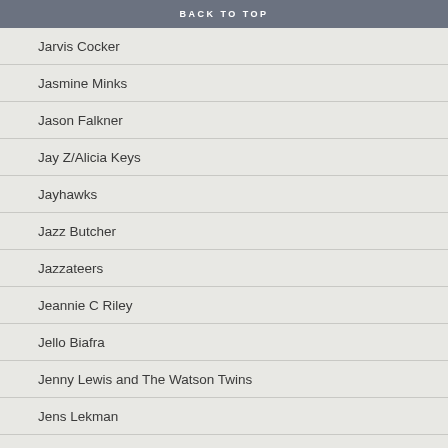BACK TO TOP
Jarvis Cocker
Jasmine Minks
Jason Falkner
Jay Z/Alicia Keys
Jayhawks
Jazz Butcher
Jazzateers
Jeannie C Riley
Jello Biafra
Jenny Lewis and The Watson Twins
Jens Lekman
Jeremy Days
Jesse Caron & The Desperadoes